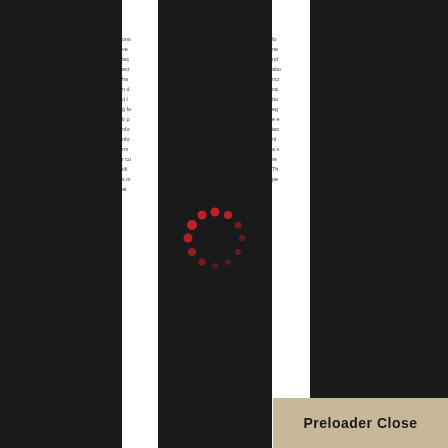[Figure (screenshot): A loading/preloader screen overlay on a dark background. Two white vertical stripes are visible with partial text fragments. A red dotted circular spinner animation is centered on the page. A tan/beige 'Preloader Close' button is in the bottom-right corner.]
ons ve tec ect ha n d d l g fo b p nfo nfo rm r cu tifi s in at
fo ne nd atio ncr ca tto eg e e tec nl a s re Th pe
Preloader Close